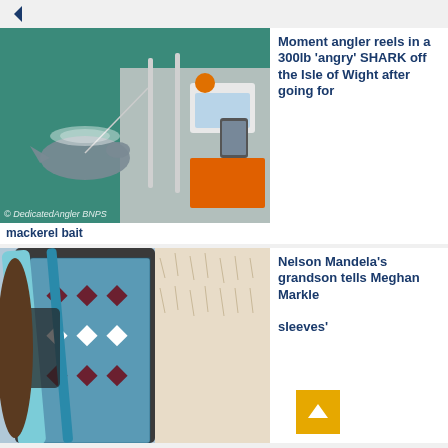[Figure (photo): Shark being reeled in alongside a fishing boat on turquoise water, with fishing equipment visible on deck. Watermark: © DedicatedAngler BNPS]
Moment angler reels in a 300lb 'angry' SHARK off the Isle of Wight after going for mackerel bait
[Figure (photo): Person wearing a patterned blue and white top with a light blue sling/bag strap across their torso, holding what appears to be a large white dog or animal]
Nelson Mandela's grandson tells Meghan Markle sleeves'